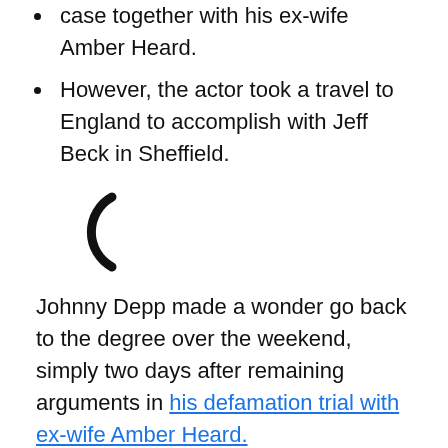case together with his ex-wife Amber Heard.
However, the actor took a travel to England to accomplish with Jeff Beck in Sheffield.
[Figure (other): Partial loading spinner icon (open parenthesis-like arc)]
Johnny Depp made a wonder go back to the degree over the weekend, simply two days after remaining arguments in his defamation trial with ex-wife Amber Heard.
Depp is suing Heard, accusing her of ruining his occupation and popularity over a Washington Post op-ed she wrote in 2018 describing herself as a sufferer of home abuse. Heard is